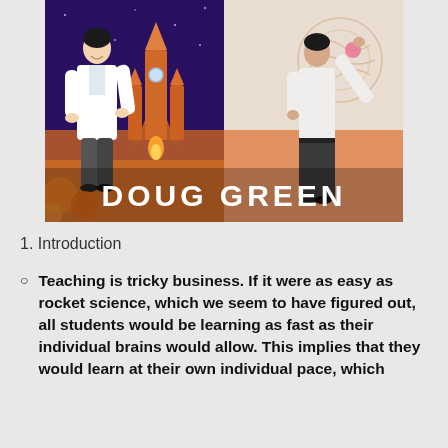[Figure (illustration): Book cover showing two figures: a female scientist in a white lab coat on the left with a rocket and space background, and a male teacher on the right pointing at a brain diagram on a wall. Text at the bottom reads 'DOUG GREEN' in large white bold letters.]
1. Introduction
Teaching is tricky business. If it were as easy as rocket science, which we seem to have figured out, all students would be learning as fast as their individual brains would allow. This implies that they would learn at their own individual pace, which